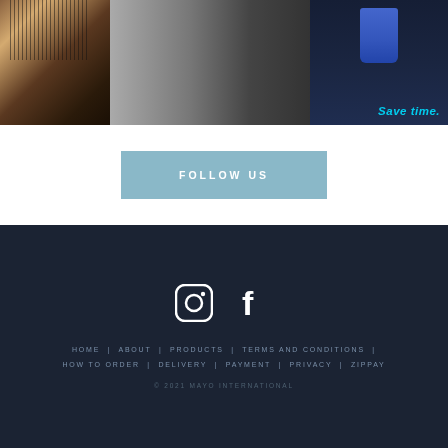[Figure (photo): Banner image showing a hair brush on the left, hair styling scene in the middle, and a product bottle on the right with 'Save time.' text in cyan]
FOLLOW US
[Figure (illustration): Instagram and Facebook social media icons in white on dark navy background]
HOME | ABOUT | PRODUCTS | TERMS AND CONDITIONS | HOW TO ORDER | DELIVERY | PAYMENT | PRIVACY | ZIPPAY
© 2021 MAYO INTERNATIONAL